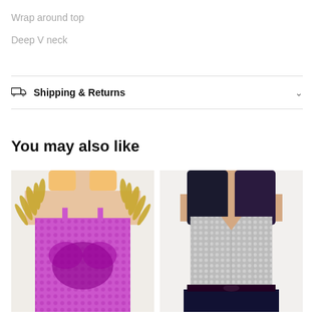Wrap around top
Deep V neck
Shipping & Returns
You may also like
[Figure (photo): Model wearing pink/purple sequin dress with feather trim at shoulders]
[Figure (photo): Model wearing silver/grey sequin corset top with dark skirt]